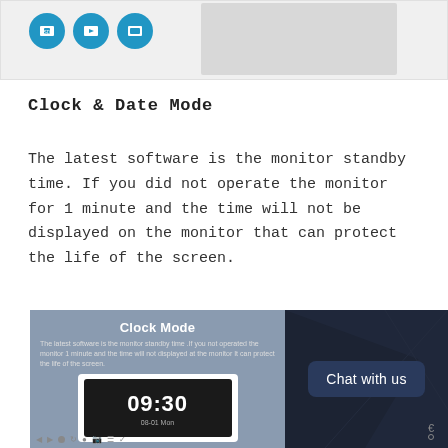[Figure (screenshot): Top strip showing blue icon circles (SD card, video, image) on light gray background with a gray box to the right]
Clock & Date Mode
The latest software is the monitor standby time. If you did not operate the monitor for 1 minute and the time will not be displayed on the monitor that can protect the life of the screen.
[Figure (screenshot): Product screenshot showing Clock Mode panel on left with clock display showing 09:30, 08-01 Mon, and Chat with us button panel on right with dark background]